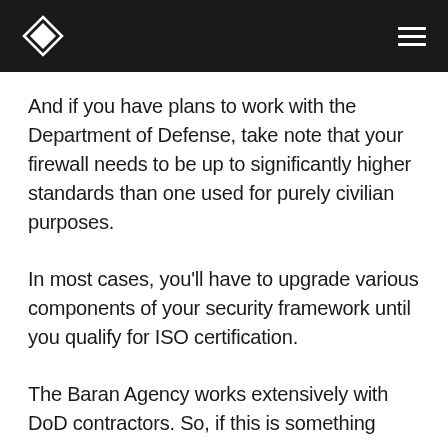And if you have plans to work with the Department of Defense, take note that your firewall needs to be up to significantly higher standards than one used for purely civilian purposes.
In most cases, you'll have to upgrade various components of your security framework until you qualify for ISO certification.
The Baran Agency works extensively with DoD contractors. So, if this is something